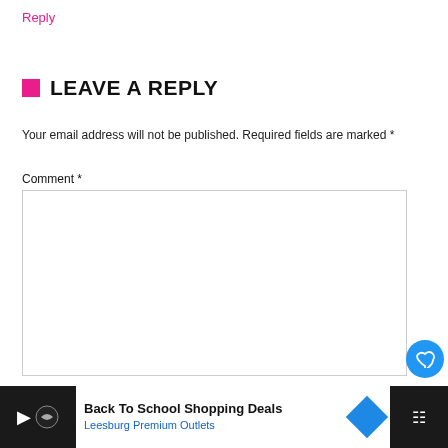Reply
LEAVE A REPLY
Your email address will not be published. Required fields are marked *
Comment *
Name *
Email *
[Figure (screenshot): Blue circle heart button with count 1, pink scroll-to-top button, and WHAT'S NEXT Ascendant Challenge... sidebar widget]
[Figure (screenshot): Ad bar: Back To School Shopping Deals - Leesburg Premium Outlets with navigation arrows and Tidal logo]